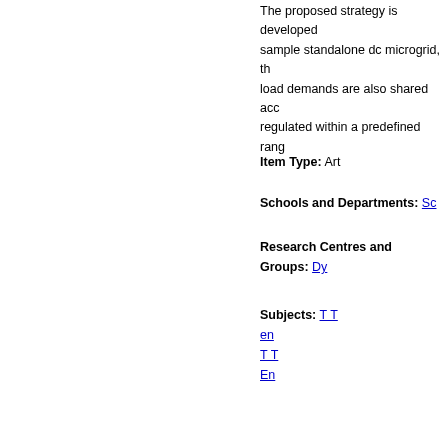The proposed strategy is developed on a sample standalone dc microgrid, the load demands are also shared according to regulated within a predefined range
Item Type: Art
Schools and Departments: Sc
Research Centres and Groups: Dy
Subjects: T T en T En
Depositing User: Ar
Date Deposited: 21
Last Modified: 01
URI: htt
View download statistics for this ite
Request an update